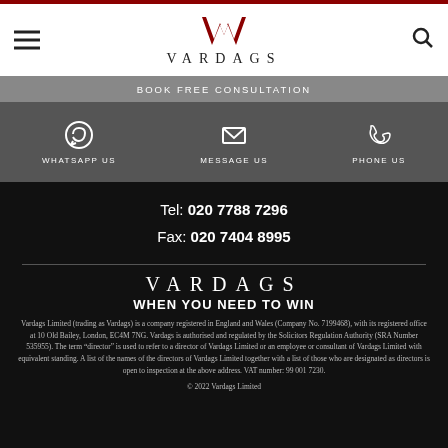[Figure (logo): Vardags law firm logo with stylized VM monogram and VARDAGS text]
BOOK FREE CONSULTATION
[Figure (infographic): Contact bar with WhatsApp Us, Message Us, and Phone Us icons and labels]
Tel: 020 7788 7296
Fax: 020 7404 8995
VARDAGS
WHEN YOU NEED TO WIN
Vardags Limited (trading as Vardags) is a company registered in England and Wales (Company No. 7199468), with its registered office at 10 Old Bailey, London, EC4M 7NG. Vardags is authorised and regulated by the Solicitors Regulation Authority (SRA Number 535955). The term "director" is used to refer to a director of Vardags Limited or an employee or consultant of Vardags Limited with equivalent standing. A list of the names of the directors of Vardags Limited together with a list of those who are designated as directors is open to inspection at the above address. VAT number: 99 001 7230.
© 2022 Vardags Limited